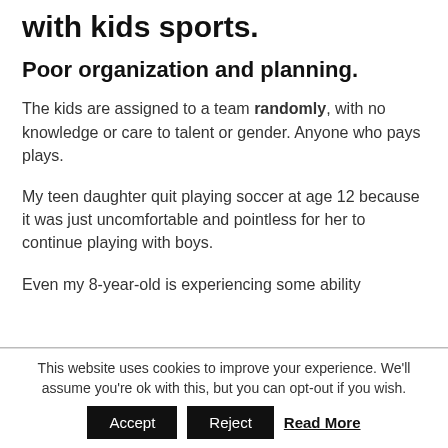with kids sports.
Poor organization and planning.
The kids are assigned to a team randomly, with no knowledge or care to talent or gender. Anyone who pays plays.
My teen daughter quit playing soccer at age 12 because it was just uncomfortable and pointless for her to continue playing with boys.
Even my 8-year-old is experiencing some ability
This website uses cookies to improve your experience. We'll assume you're ok with this, but you can opt-out if you wish.
Accept | Reject | Read More